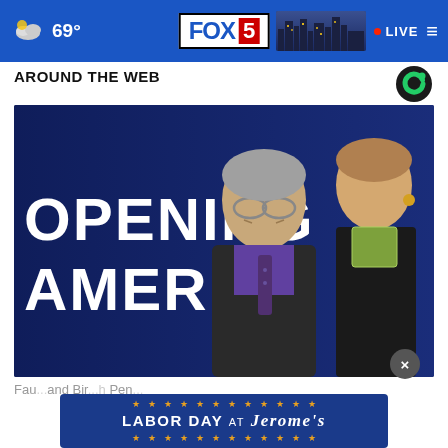FOX 5 | 69° | LIVE
AROUND THE WEB
[Figure (photo): Two people standing in front of a blue background with text reading 'OPENING AMERICA'. A man in glasses wearing a purple shirt and dark tie stands in front, with a woman in a black jacket and green scarf behind him.]
Fau...and Bir...h Pen...
[Figure (advertisement): Labor Day at Jerome's advertisement banner with blue background, gold stars, and white text.]